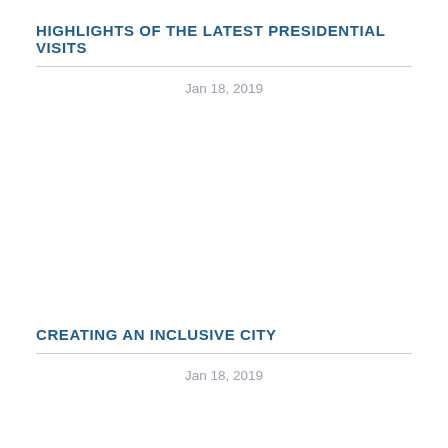HIGHLIGHTS OF THE LATEST PRESIDENTIAL VISITS
Jan 18, 2019
CREATING AN INCLUSIVE CITY
Jan 18, 2019